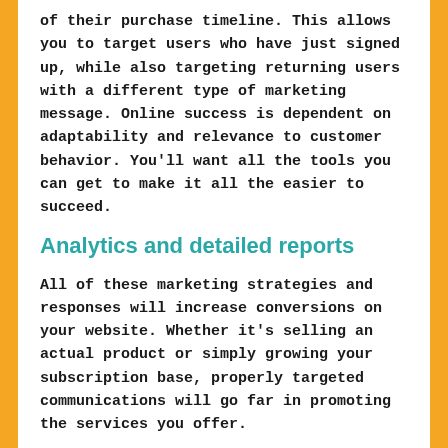of their purchase timeline. This allows you to target users who have just signed up, while also targeting returning users with a different type of marketing message. Online success is dependent on adaptability and relevance to customer behavior. You'll want all the tools you can get to make it all the easier to succeed.
Analytics and detailed reports
All of these marketing strategies and responses will increase conversions on your website. Whether it's selling an actual product or simply growing your subscription base, properly targeted communications will go far in promoting the services you offer.
GetResponse also has data reporting available on its platform so you can see how each arm in your marketing plan plays towards your overall campaign goals. You can